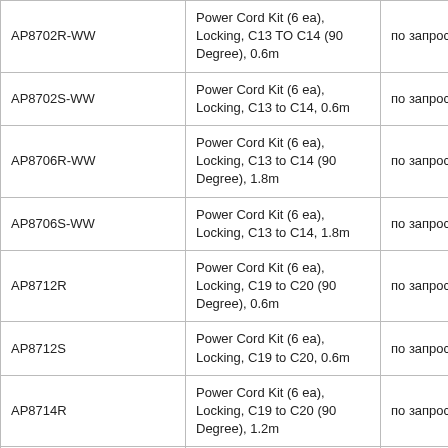| AP8702R-WW | Power Cord Kit (6 ea), Locking, C13 TO C14 (90 Degree), 0.6m | по запросу |
| AP8702S-WW | Power Cord Kit (6 ea), Locking, C13 to C14, 0.6m | по запросу |
| AP8706R-WW | Power Cord Kit (6 ea), Locking, C13 to C14 (90 Degree), 1.8m | по запросу |
| AP8706S-WW | Power Cord Kit (6 ea), Locking, C13 to C14, 1.8m | по запросу |
| AP8712R | Power Cord Kit (6 ea), Locking, C19 to C20 (90 Degree), 0.6m | по запросу |
| AP8712S | Power Cord Kit (6 ea), Locking, C19 to C20, 0.6m | по запросу |
| AP8714R | Power Cord Kit (6 ea), Locking, C19 to C20 (90 Degree), 1.2m | по запросу |
| AP8716R | Power Cord Kit (6 ea), Locking, C19 to C20 (90 Degree), 1.8m | по запросу |
| [image] | Power Cord, Locking C19 to C[cut off] | по запросу |